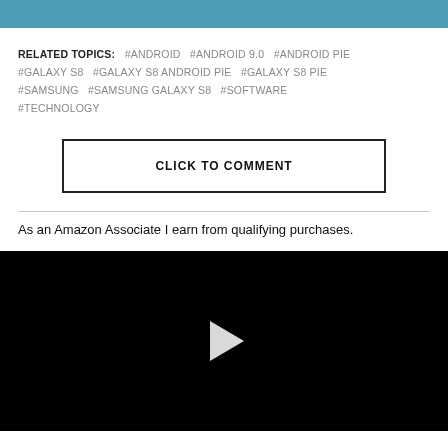[Figure (other): Blue banner/header bar at top of page]
RELATED TOPICS: #ANDROID #ANDROID 9.0 #ANDROID PIE #GALAXY S8 #GALAXY S8 ANDROID PIE #GALAXY S8 PIE #SAMSUNG #SAMSUNG GALAXY S8 #SOFTWARE #TECHNOLOGY
CLICK TO COMMENT
As an Amazon Associate I earn from qualifying purchases.
[Figure (other): Black video player with white play button triangle in center]